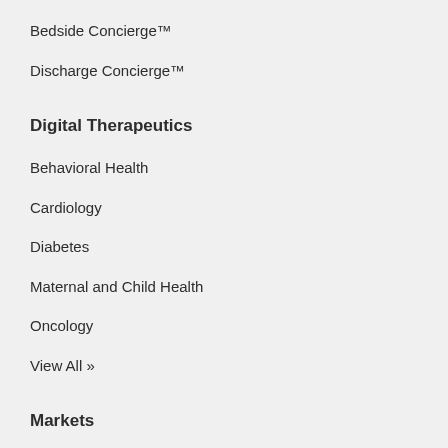Bedside Concierge™
Discharge Concierge™
Digital Therapeutics
Behavioral Health
Cardiology
Diabetes
Maternal and Child Health
Oncology
View All »
Markets
Healthcare Providers